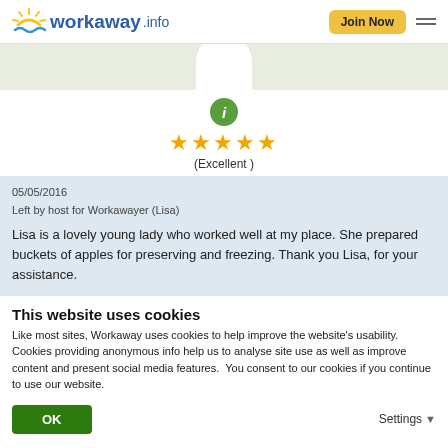[Figure (logo): workaway.info logo with sun graphic]
[Figure (map): Map background strip with profile picture bump]
[Figure (other): Green circle with italic i (info icon)]
(Excellent )
05/05/2016
Left by host for Workawayer (Lisa)
Lisa is a lovely young lady who worked well at my place. She prepared buckets of apples for preserving and freezing. Thank you Lisa, for your assistance.
This website uses cookies
Like most sites, Workaway uses cookies to help improve the website's usability. Cookies providing anonymous info help us to analyse site use as well as improve content and present social media features.  You consent to our cookies if you continue to use our website.